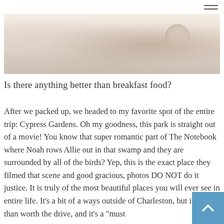[Figure (photo): A close-up photo of white/cream colored breakfast items, appears to show a cup or bowl with food, soft warm tones]
Is there anything better than breakfast food?
After we packed up, we headed to my favorite spot of the entire trip: Cypress Gardens. Oh my goodness, this park is straight out of a movie! You know that super romantic part of The Notebook where Noah rows Allie out in that swamp and they are surrounded by all of the birds? Yep, this is the exact place they filmed that scene and good gracious, photos DO NOT do it justice. It is truly of the most beautiful places you will ever see in entire life. It’s a bit of a ways outside of Charleston, but it’s more than worth the drive, and it’s a “must